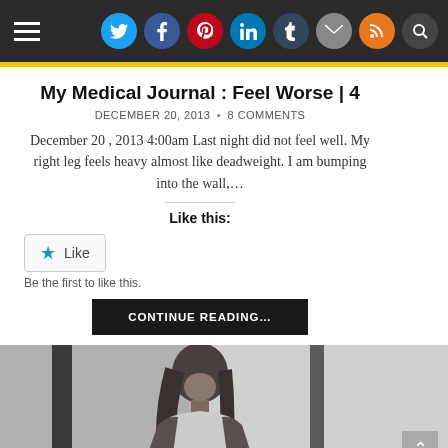My Medical Journal - navigation bar with social icons
My Medical Journal : Feel Worse | 4
DECEMBER 20, 2013 • 8 COMMENTS
December 20 , 2013 4:00am Last night did not feel well. My right leg feels heavy almost like deadweight. I am bumping into the wall,…
Like this:
Be the first to like this.
CONTINUE READING...
[Figure (photo): Black and white photo of a woman with long dark hair standing near a doorway or window frame, wearing a white top and dark jacket.]